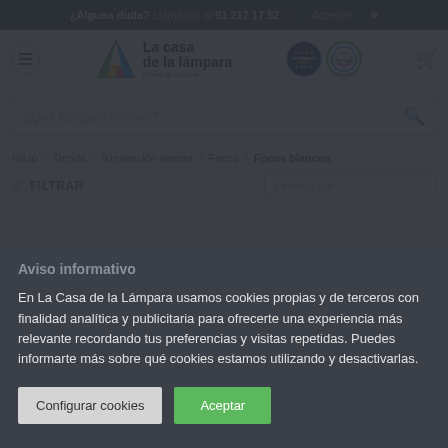¿Alguna duda? Llámanos al 91 217 17 52  Acceder
[Figure (logo): La casa de la lámpara logo with colorful triangle, ecommerce Europe badge, Confianza Online badge]
¿Qué lámpara buscas?
Inicio / Tienda / Iluminación interior / Focos / Focos blancos
FILTRAR
Aviso informativo
En La Casa de la Lámpara usamos cookies propias y de terceros con finalidad analítica y publicitaria para ofrecerte una experiencia más relevante recordando tus preferencias y visitas repetidas. Puedes informarte más sobre qué cookies estamos utilizando y desactivarlas.
Configurar cookies  Aceptar